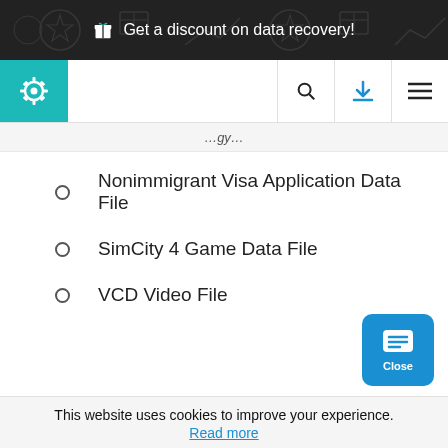🎁 Get a discount on data recovery!
[Figure (logo): Gear/settings icon logo in teal square, with search, download, and hamburger menu icons in navigation bar]
...gy...
Nonimmigrant Visa Application Data File
SimCity 4 Game Data File
VCD Video File
This website uses cookies to improve your experience.
Read more